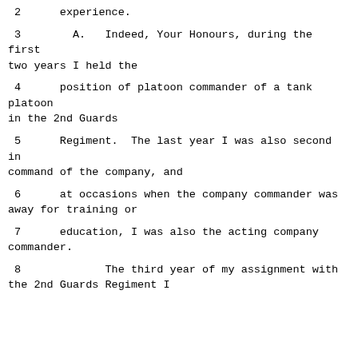2      experience.
3        A.   Indeed, Your Honours, during the first two years I held the
4      position of platoon commander of a tank platoon in the 2nd Guards
5      Regiment.  The last year I was also second in command of the company, and
6      at occasions when the company commander was away for training or
7      education, I was also the acting company commander.
8             The third year of my assignment with the 2nd Guards Regiment I